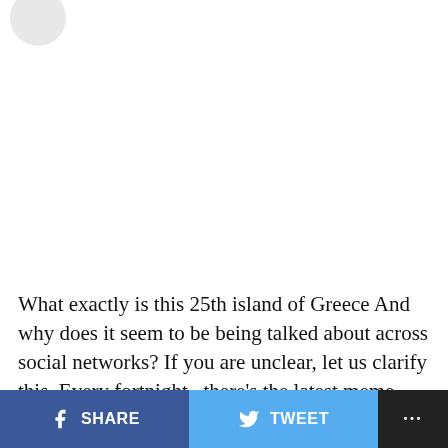[Figure (logo): Partial circular logo/avatar in top-left corner]
What exactly is this 25th island of Greece And why does it seem to be being talked about across social networks? If you are unclear, let us clarify this. Every fortnight , there’s the latest meme that is trending. “Why were chainsaws invented?’ is an extremely popular
SHARE   TWEET   ...